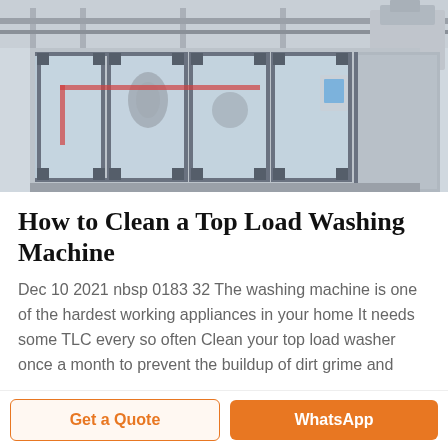[Figure (photo): Industrial bottling/filling machine line in a factory, showing large glass-panel enclosed machinery with metal frames, pipes and control panels, in a spacious grey industrial facility.]
How to Clean a Top Load Washing Machine
Dec 10 2021 nbsp 0183 32 The washing machine is one of the hardest working appliances in your home It needs some TLC every so often Clean your top load washer once a month to prevent the buildup of dirt grime and